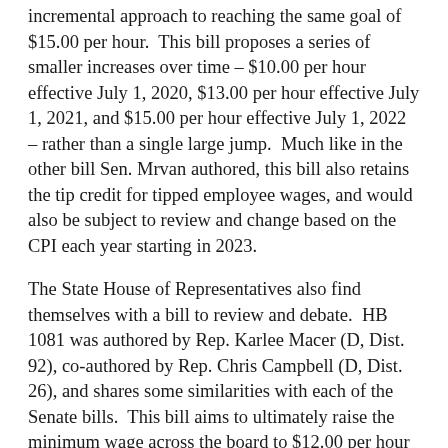incremental approach to reaching the same goal of $15.00 per hour. This bill proposes a series of smaller increases over time – $10.00 per hour effective July 1, 2020, $13.00 per hour effective July 1, 2021, and $15.00 per hour effective July 1, 2022 – rather than a single large jump. Much like in the other bill Sen. Mrvan authored, this bill also retains the tip credit for tipped employee wages, and would also be subject to review and change based on the CPI each year starting in 2023.
The State House of Representatives also find themselves with a bill to review and debate. HB 1081 was authored by Rep. Karlee Macer (D, Dist. 92), co-authored by Rep. Chris Campbell (D, Dist. 26), and shares some similarities with each of the Senate bills. This bill aims to ultimately raise the minimum wage across the board to $12.00 per hour by January 1, 2023. However, there would be some differences to the means by which this would occur for tipped and non-tipped employees. Non-tipped employees would se...